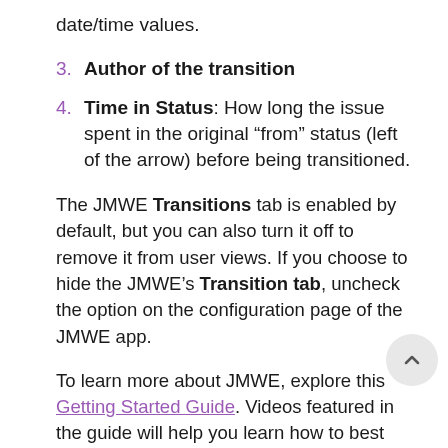date/time values.
3. Author of the transition
4. Time in Status: How long the issue spent in the original “from” status (left of the arrow) before being transitioned.
The JMWE Transitions tab is enabled by default, but you can also turn it off to remove it from user views. If you choose to hide the JMWE’s Transition tab, uncheck the option on the configuration page of the JMWE app.
To learn more about JMWE, explore this Getting Started Guide. Videos featured in the guide will help you learn how to best use...